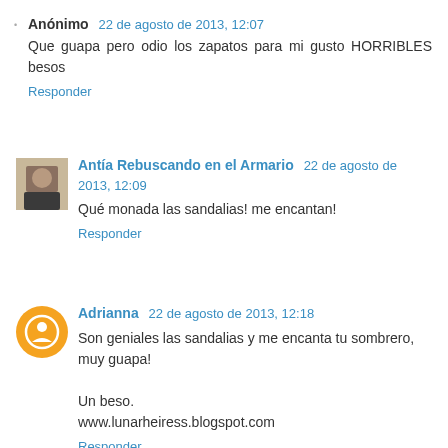Anónimo 22 de agosto de 2013, 12:07
Que guapa pero odio los zapatos para mi gusto HORRIBLES besos
Responder
Antía Rebuscando en el Armario 22 de agosto de 2013, 12:09
Qué monada las sandalias! me encantan!
Responder
Adrianna 22 de agosto de 2013, 12:18
Son geniales las sandalias y me encanta tu sombrero, muy guapa!

Un beso.
www.lunarheiress.blogspot.com
Responder